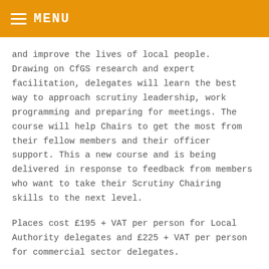MENU
and improve the lives of local people. Drawing on CfGS research and expert facilitation, delegates will learn the best way to approach scrutiny leadership, work programming and preparing for meetings. The course will help Chairs to get the most from their fellow members and their officer support. This a new course and is being delivered in response to feedback from members who want to take their Scrutiny Chairing skills to the next level.
Places cost £195 + VAT per person for Local Authority delegates and £225 + VAT per person for commercial sector delegates.